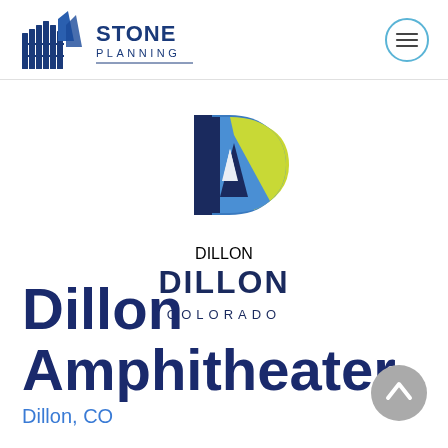[Figure (logo): Stone Planning logo with colosseum-style building icon and 'STONE PLANNING' text]
[Figure (logo): Dillon Colorado logo with mountain/sail graphic in blue and yellow-green forming letter D, with 'DILLON COLORADO' text]
Dillon Amphitheater
Dillon, CO